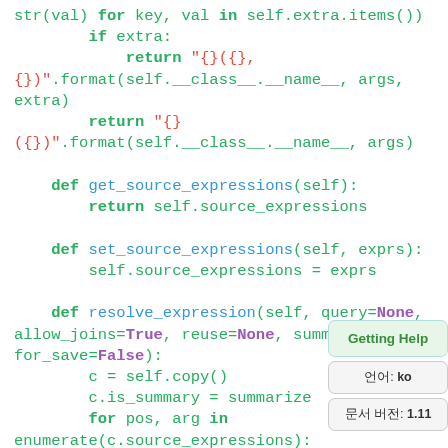[Figure (screenshot): Python source code snippet showing class methods: __repr__ with conditional return using str.format, get_source_expressions returning self.source_expressions, set_source_expressions assigning exprs, and partial view of resolve_expression with parameters. Syntax highlighted with green keywords, red strings, blue function names, purple booleans.]
Getting Help sidebar with language: ko and version: 1.11